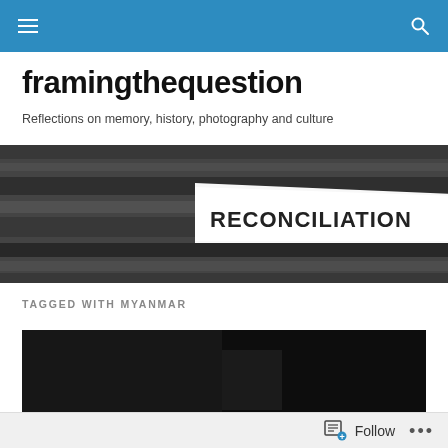framingthequestion — navigation bar with menu and search icons
framingthequestion
Reflections on memory, history, photography and culture
[Figure (photo): Black and white photo showing a torn paper sign with the word RECONCILIATION printed on it against a dark blurred background]
TAGGED WITH MYANMAR
[Figure (photo): Dark/black article preview image]
Follow  •••